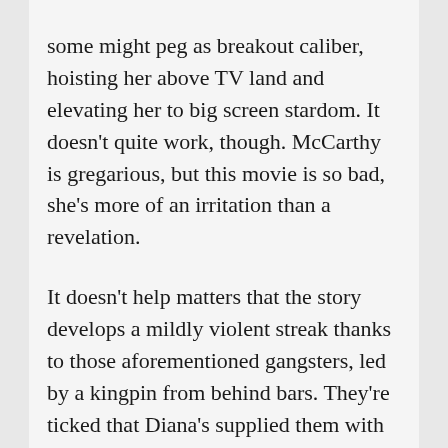some might peg as breakout caliber, hoisting her above TV land and elevating her to big screen stardom. It doesn't quite work, though. McCarthy is gregarious, but this movie is so bad, she's more of an irritation than a revelation.

It doesn't help matters that the story develops a mildly violent streak thanks to those aforementioned gangsters, led by a kingpin from behind bars. They're ticked that Diana's supplied them with — gasp — bogus fraudulent credit cards and they want her to